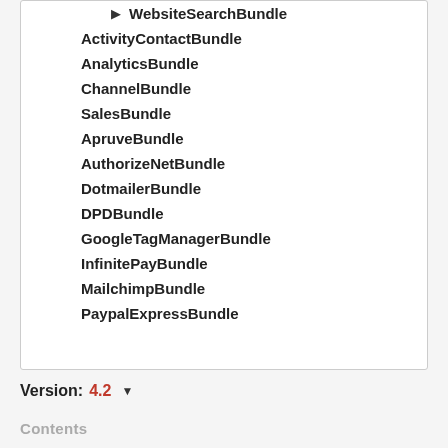WebsiteSearchBundle
ActivityContactBundle
AnalyticsBundle
ChannelBundle
SalesBundle
ApruveBundle
AuthorizeNetBundle
DotmailerBundle
DPDBundle
GoogleTagManagerBundle
InfinitePayBundle
MailchimpBundle
PaypalExpressBundle
Version: 4.2
Contents